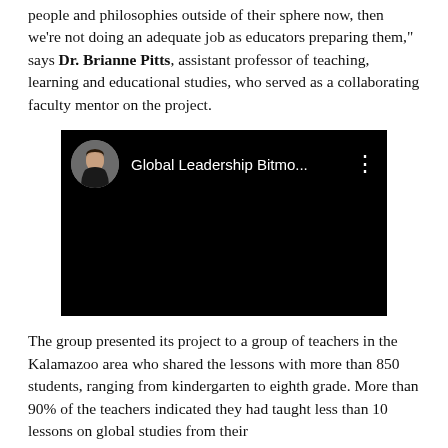people and philosophies outside of their sphere now, then we're not doing an adequate job as educators preparing them," says Dr. Brianne Pitts, assistant professor of teaching, learning and educational studies, who served as a collaborating faculty mentor on the project.
[Figure (screenshot): A YouTube video thumbnail with black background. The top bar shows a circular avatar photo of a woman with dark hair, the title 'Global Leadership Bitmo...' in white text, and a three-dot menu icon on the right.]
The group presented its project to a group of teachers in the Kalamazoo area who shared the lessons with more than 850 students, ranging from kindergarten to eighth grade. More than 90% of the teachers indicated they had taught less than 10 lessons on global studies from their